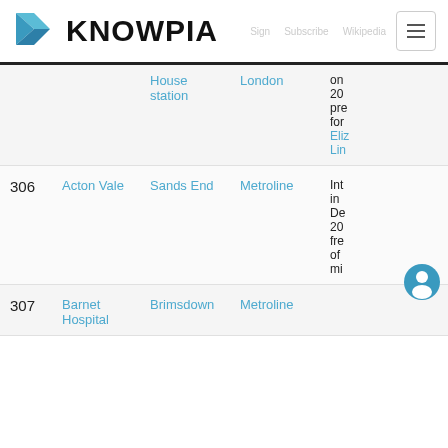KNOWPIA
|  |  |  |  |  |
| --- | --- | --- | --- | --- |
|  |  | House station | London | on 20 pre for Eliz Lin |
| 306 | Acton Vale | Sands End | Metroline | Int in De 20 fre of mi |
| 307 | Barnet Hospital | Brimsdown | Metroline |  |